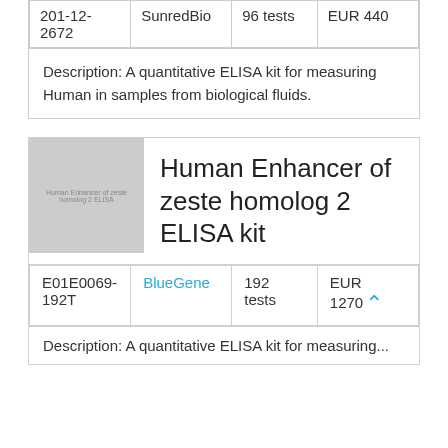|  |  |  |  |
| --- | --- | --- | --- |
| 201-12-2672 | SunredBio | 96 tests | EUR 440 |
Description: A quantitative ELISA kit for measuring Human in samples from biological fluids.
[Figure (photo): Product image placeholder for Human Enhancer of zeste homolog 2 ELISA kit with text overlay]
Human Enhancer of zeste homolog 2 ELISA kit
|  |  |  |  |
| --- | --- | --- | --- |
| E01E0069-192T | BlueGene | 192 tests | EUR 1270 |
Description: A quantitative ELISA kit for measuring...